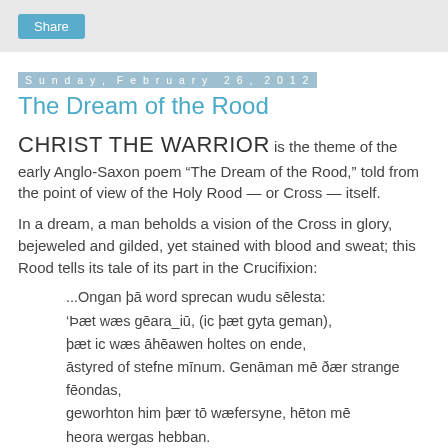Share
Sunday, February 26, 2012
The Dream of the Rood
CHRIST THE WARRIOR is the theme of the early Anglo-Saxon poem “The Dream of the Rood,” told from the point of view of the Holy Rood — or Cross — itself.
In a dream, a man beholds a vision of the Cross in glory, bejeweled and gilded, yet stained with blood and sweat; this Rood tells its tale of its part in the Crucifixion:
...Ongan þā word sprecan wudu sēlesta:
‘Þat wæs gēara_iū, (ic þat gyta geman),
þat ic wæs āhēawen holtes on ende,
āstyred of stefne mīnum. Genāman mē ðær strange fēondas,
geworhton him þær tō wæfersyne, hēton mē heora wergas hebban.